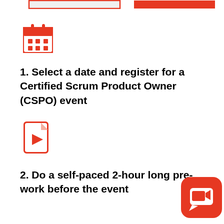[Figure (illustration): Two button/tab UI elements at the top: one outlined in red (unselected) and one filled red (selected)]
[Figure (illustration): Red calendar icon]
1. Select a date and register for a Certified Scrum Product Owner (CSPO) event
[Figure (illustration): Red document/video file icon]
2. Do a self-paced 2-hour long pre-work before the event
[Figure (illustration): Red rounded square chat bubble icon in bottom right corner]